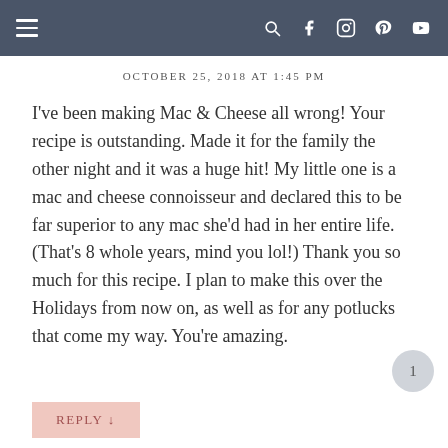Navigation bar with hamburger menu and social icons
OCTOBER 25, 2018 AT 1:45 PM
I've been making Mac & Cheese all wrong! Your recipe is outstanding. Made it for the family the other night and it was a huge hit! My little one is a mac and cheese connoisseur and declared this to be far superior to any mac she'd had in her entire life. (That's 8 whole years, mind you lol!) Thank you so much for this recipe. I plan to make this over the Holidays from now on, as well as for any potlucks that come my way. You're amazing.
REPLY